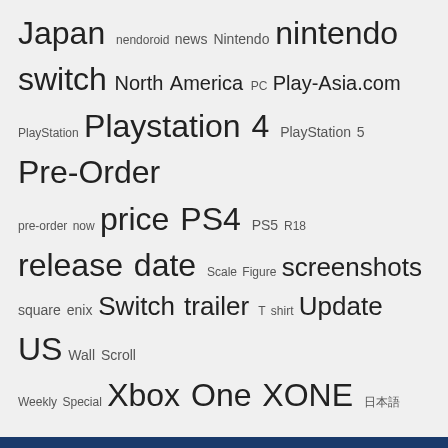Japan nendoroid news Nintendo nintendo switch North America PC Play-Asia.com PlayStation Playstation 4 PlayStation 5 Pre-Order pre-order now price PS4 PS5 R18 release date Scale Figure screenshots square enix Switch trailer T shirt Update US Wall Scroll Weekly Special Xbox One XONE 日本語
MORE
Earn 'DOUBLE COINS' with these picks
[Figure (illustration): Three product images: Nintendo Switch game, PS5 console/game, and an orange product]